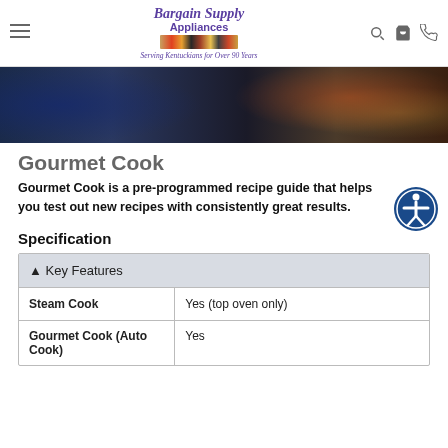Bargain Supply Appliances — Serving Kentuckians for Over 90 Years
[Figure (photo): Close-up photo of a dish with colorful food on a stovetop or oven surface, dark background]
Gourmet Cook
Gourmet Cook is a pre-programmed recipe guide that helps you test out new recipes with consistently great results.
Specification
| Key Features |  |
| --- | --- |
| Steam Cook | Yes (top oven only) |
| Gourmet Cook (Auto Cook) | Yes |